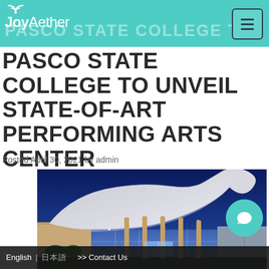JoyAether — PASCO STATE COLLEGE TO UNVEIL STATE-OF-ART PERFORMING ARTS CENTER
PASCO STATE COLLEGE TO UNVEIL STATE-OF-ART PERFORMING ARTS CENTER
Posted April 30, 2021 by admin
[Figure (photo): Exterior night photograph of a modern performing arts center building with a dramatic curved white sweeping roof, glass facade entrance, tall decorative columns, and illuminated interior against a deep blue evening sky]
English | 日本語 >> Contact Us